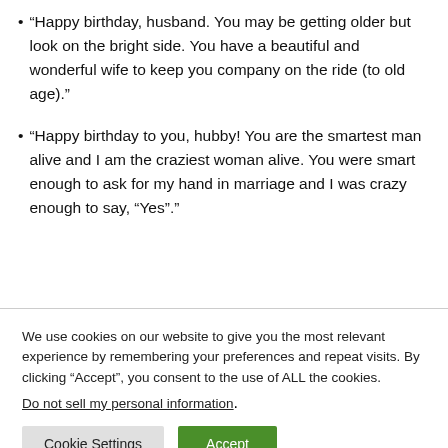• “Happy birthday, husband. You may be getting older but look on the bright side. You have a beautiful and wonderful wife to keep you company on the ride (to old age).”
• “Happy birthday to you, hubby! You are the smartest man alive and I am the craziest woman alive. You were smart enough to ask for my hand in marriage and I was crazy enough to say, “Yes”.”
We use cookies on our website to give you the most relevant experience by remembering your preferences and repeat visits. By clicking “Accept”, you consent to the use of ALL the cookies. Do not sell my personal information.